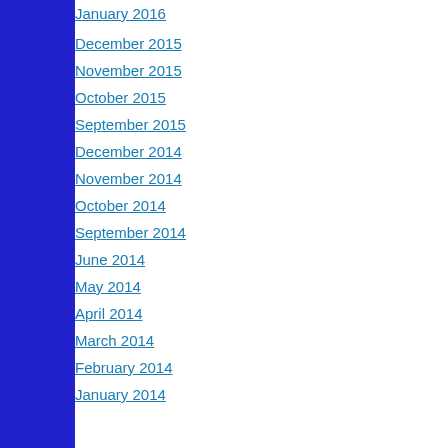January 2016
December 2015
November 2015
October 2015
September 2015
December 2014
November 2014
October 2014
September 2014
June 2014
May 2014
April 2014
March 2014
February 2014
January 2014